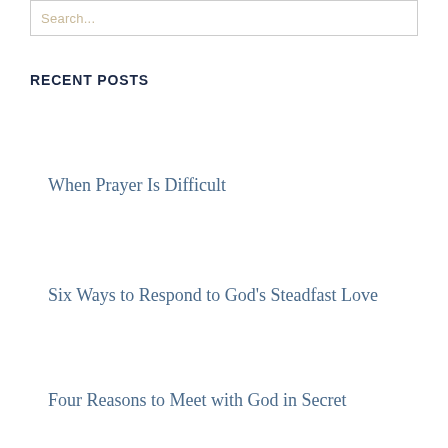Search...
RECENT POSTS
When Prayer Is Difficult
Six Ways to Respond to God's Steadfast Love
Four Reasons to Meet with God in Secret